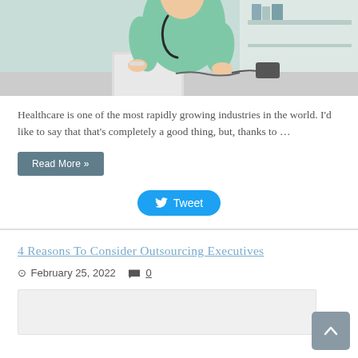[Figure (photo): Photo of a healthcare worker in green scrubs with stethoscope, working at a desk with a laptop]
Healthcare is one of the most rapidly growing industries in the world. I'd like to say that that's completely a good thing, but, thanks to …
Read More »
Tweet
4 Reasons To Consider Outsourcing Executives
February 25, 2022  0
[Figure (photo): Thumbnail image placeholder for the article]